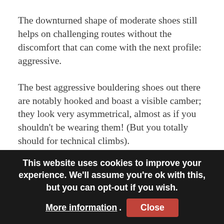The downturned shape of moderate shoes still helps on challenging routes without the discomfort that can come with the next profile: aggressive.
The best aggressive bouldering shoes out there are notably hooked and boast a visible camber; they look very asymmetrical, almost as if you shouldn't be wearing them! (But you totally should for technical climbs).
The idea of the extreme down curve is giving you more support to grab tiny edges and holds on steep or overhanging sections. Forcing your feet into a powerful
This website uses cookies to improve your experience. We'll assume you're ok with this, but you can opt-out if you wish. More information. Close